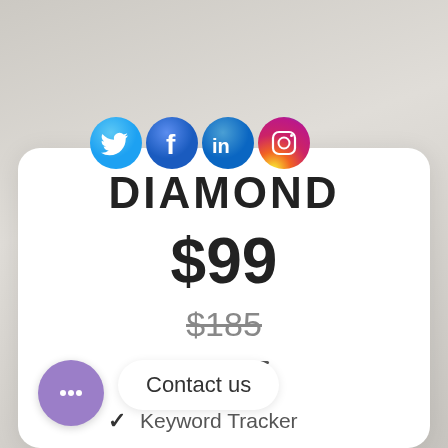[Figure (illustration): Social media icons: Twitter (blue bird), Facebook (blue f), LinkedIn (blue in), Instagram (gradient camera)]
DIAMOND
$99
$185
[Figure (illustration): Purple chat bubble with ellipsis dots icon]
Contact us
✓ Keyword Tracker